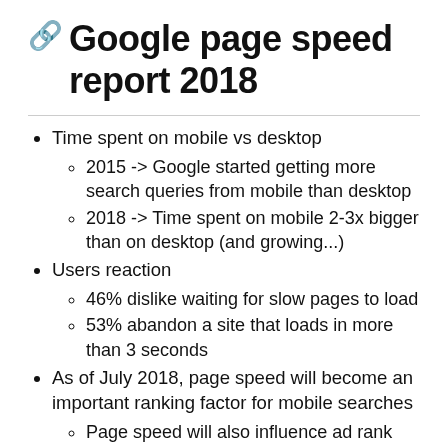Google page speed report 2018
Time spent on mobile vs desktop
2015 -> Google started getting more search queries from mobile than desktop
2018 -> Time spent on mobile 2-3x bigger than on desktop (and growing...)
Users reaction
46% dislike waiting for slow pages to load
53% abandon a site that loads in more than 3 seconds
As of July 2018, page speed will become an important ranking factor for mobile searches
Page speed will also influence ad rank